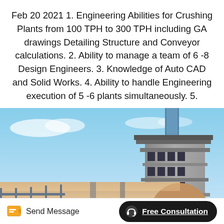Feb 20 2021 1. Engineering Abilities for Crushing Plants from 100 TPH to 300 TPH including GA drawings Detailing Structure and Conveyor calculations. 2. Ability to manage a team of 6 -8 Design Engineers. 3. Knowledge of Auto CAD and Solid Works. 4. Ability to handle Engineering execution of 5 -6 plants simultaneously. 5.
[Figure (photo): Industrial crushing plant with large cylindrical conveyor/drum in foreground and multi-level tower structure in background against blue sky]